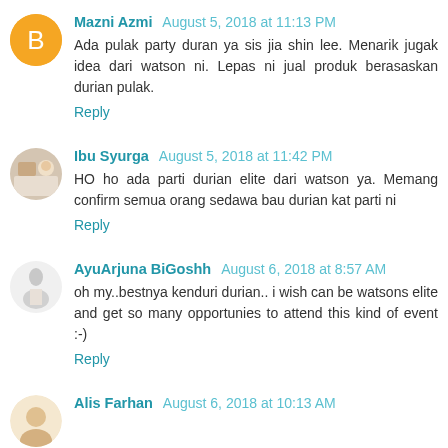Mazni Azmi  August 5, 2018 at 11:13 PM
Ada pulak party duran ya sis jia shin lee. Menarik jugak idea dari watson ni. Lepas ni jual produk berasaskan durian pulak.
Reply
Ibu Syurga  August 5, 2018 at 11:42 PM
HO ho ada parti durian elite dari watson ya. Memang confirm semua orang sedawa bau durian kat parti ni
Reply
AyuArjuna BiGoshh  August 6, 2018 at 8:57 AM
oh my..bestnya kenduri durian.. i wish can be watsons elite and get so many opportunies to attend this kind of event :-)
Reply
Alis Farhan  August 6, 2018 at 10:13 AM